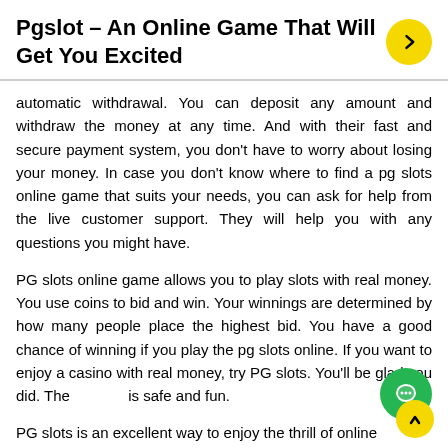Pgslot – An Online Game That Will Get You Excited
automatic withdrawal. You can deposit any amount and withdraw the money at any time. And with their fast and secure payment system, you don't have to worry about losing your money. In case you don't know where to find a pg slots online game that suits your needs, you can ask for help from the live customer support. They will help you with any questions you might have.
PG slots online game allows you to play slots with real money. You use coins to bid and win. Your winnings are determined by how many people place the highest bid. You have a good chance of winning if you play the pg slots online. If you want to enjoy a casino with real money, try PG slots. You'll be glad you did. The site is safe and fun.
PG slots is an excellent way to enjoy the thrill of online